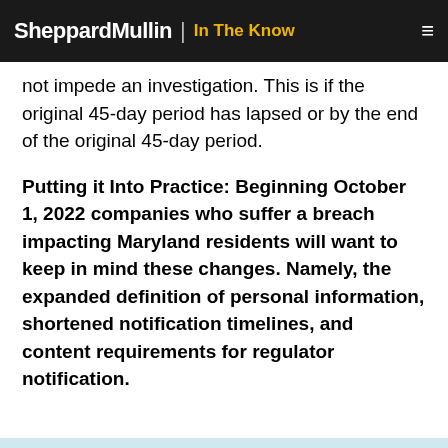SheppardMullin | In The Know
not impede an investigation. This is if the original 45-day period has lapsed or by the end of the original 45-day period.
Putting it Into Practice: Beginning October 1, 2022 companies who suffer a breach impacting Maryland residents will want to keep in mind these changes. Namely, the expanded definition of personal information, shortened notification timelines, and content requirements for regulator notification.